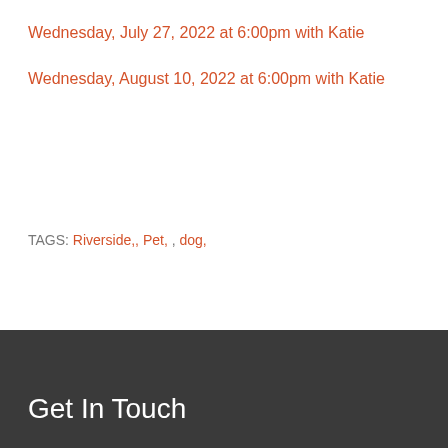Wednesday, July 27, 2022 at 6:00pm with Katie
Wednesday, August 10, 2022 at 6:00pm with Katie
TAGS: Riverside,, Pet, , dog,
Get In Touch